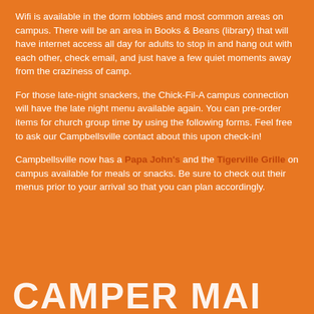Wifi is available in the dorm lobbies and most common areas on campus. There will be an area in Books & Beans (library) that will have internet access all day for adults to stop in and hang out with each other, check email, and just have a few quiet moments away from the craziness of camp.
For those late-night snackers, the Chick-Fil-A campus connection will have the late night menu available again. You can pre-order items for church group time by using the following forms. Feel free to ask our Campbellsville contact about this upon check-in!
Campbellsville now has a Papa John's and the Tigerville Grille on campus available for meals or snacks. Be sure to check out their menus prior to your arrival so that you can plan accordingly.
CAMPER MAIL